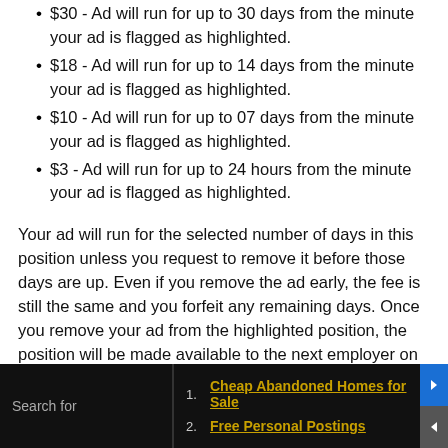$30 - Ad will run for up to 30 days from the minute your ad is flagged as highlighted.
$18 - Ad will run for up to 14 days from the minute your ad is flagged as highlighted.
$10 - Ad will run for up to 07 days from the minute your ad is flagged as highlighted.
$3 - Ad will run for up to 24 hours from the minute your ad is flagged as highlighted.
Your ad will run for the selected number of days in this position unless you request to remove it before those days are up. Even if you remove the ad early, the fee is still the same and you forfeit any remaining days. Once you remove your ad from the highlighted position, the position will be made available to the next employer on the waiting list. Your ad will be moved to the regular listings if not in the highlighted position, assuming the ad
Search for
Cheap Abandoned Homes for Sale
Free Personal Postings